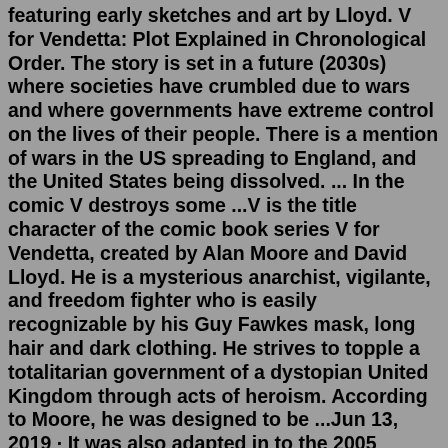featuring early sketches and art by Lloyd. V for Vendetta: Plot Explained in Chronological Order. The story is set in a future (2030s) where societies have crumbled due to wars and where governments have extreme control on the lives of their people. There is a mention of wars in the US spreading to England, and the United States being dissolved. ... In the comic V destroys some ...V is the title character of the comic book series V for Vendetta, created by Alan Moore and David Lloyd. He is a mysterious anarchist, vigilante, and freedom fighter who is easily recognizable by his Guy Fawkes mask, long hair and dark clothing. He strives to topple a totalitarian government of a dystopian United Kingdom through acts of heroism. According to Moore, he was designed to be ...Jun 13, 2019 · It was also adapted in to the 2005 motion picture, V for Vendetta. Collected Editions. V for Vendetta. Published in numerous printings, originally under DC Comics banner before being moved onto DC ... V for Vendetta is a comic by Alan Moore and David Lloyd. Starting in March,